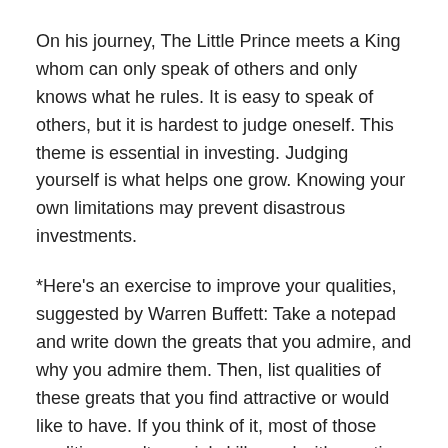On his journey, The Little Prince meets a King whom can only speak of others and only knows what he rules. It is easy to speak of others, but it is hardest to judge oneself. This theme is essential in investing. Judging yourself is what helps one grow. Knowing your own limitations may prevent disastrous investments.
*Here's an exercise to improve your qualities, suggested by Warren Buffett: Take a notepad and write down the greats that you admire, and why you admire them. Then, list qualities of these greats that you find attractive or would like to have. If you think of it, most of those qualities aren't special skills, and with practice, you can make them your own.
I discovered this book through my father, who has a